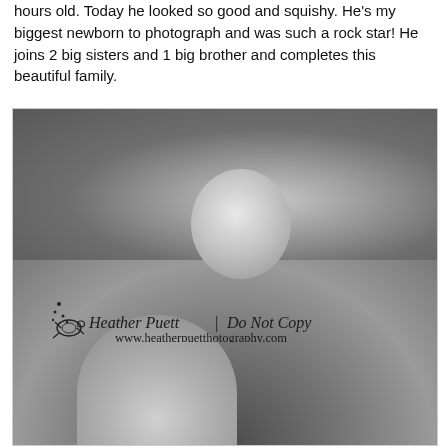hours old. Today he looked so good and squishy. He's my biggest newborn to photograph and was such a rock star! He joins 2 big sisters and 1 big brother and completes this beautiful family.
[Figure (photo): Black and white photograph of a newborn baby curled up, shot from above. The baby's round head is visible in the upper center area, and a second smaller head (possibly the same baby from a different angle) appears at the bottom. A watermark reads 'Heather Puett | Do Not Copy' and 'www.heatherpuetthotography.com' with a turtle logo.]